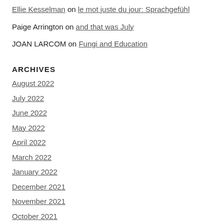Ellie Kesselman on le mot juste du jour: Sprachgefühl
Paige Arrington on and that was July
JOAN LARCOM on Fungi and Education
ARCHIVES
August 2022
July 2022
June 2022
May 2022
April 2022
March 2022
January 2022
December 2021
November 2021
October 2021
September 2021